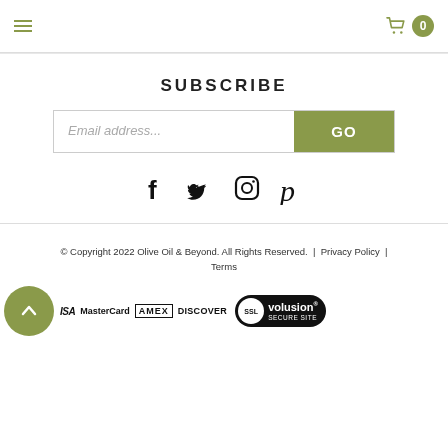Navigation header with hamburger menu and cart (0)
SUBSCRIBE
[Figure (other): Email address input field with GO button]
[Figure (other): Social media icons: Facebook, Twitter, Instagram, Pinterest]
© Copyright 2022 Olive Oil & Beyond. All Rights Reserved. | Privacy Policy | Terms
[Figure (other): Scroll-to-top button, payment logos (VISA, MasterCard, AMEX, DISCOVER), SSL Volusion Secure Site badge]